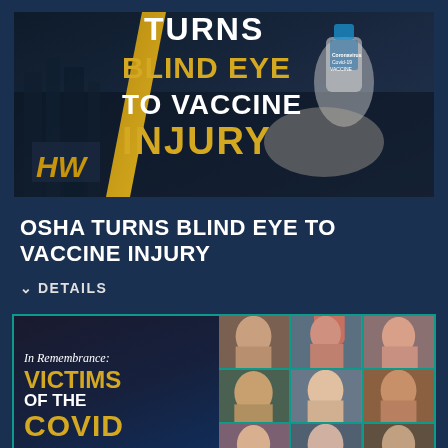[Figure (photo): Promotional graphic with dark blue industrial city background and gloved hand holding a COVID-19 vaccine vial. Bold yellow and white text reads 'TURNS BLIND EYE TO VACCINE INJURY' with HW logo watermark.]
OSHA TURNS BLIND EYE TO VACCINE INJURY
DETAILS
[Figure (photo): In Remembrance: VICTIMS OF THE COVID - collage of people's faces in a grid on the right side, italic script heading and bold yellow/white text on dark blue left panel, teal border.]